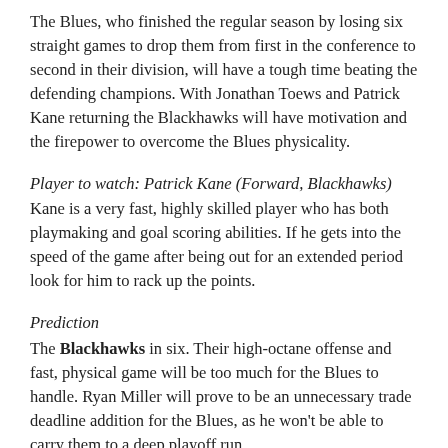The Blues, who finished the regular season by losing six straight games to drop them from first in the conference to second in their division, will have a tough time beating the defending champions. With Jonathan Toews and Patrick Kane returning the Blackhawks will have motivation and the firepower to overcome the Blues physicality.
Player to watch: Patrick Kane (Forward, Blackhawks)
Kane is a very fast, highly skilled player who has both playmaking and goal scoring abilities. If he gets into the speed of the game after being out for an extended period look for him to rack up the points.
Prediction
The Blackhawks in six. Their high-octane offense and fast, physical game will be too much for the Blues to handle. Ryan Miller will prove to be an unnecessary trade deadline addition for the Blues, as he won't be able to carry them to a deep playoff run.